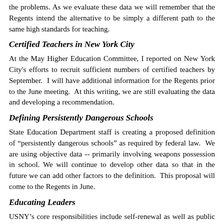the problems. As we evaluate these data we will remember that the Regents intend the alternative to be simply a different path to the same high standards for teaching.
Certified Teachers in New York City
At the May Higher Education Committee, I reported on New York City's efforts to recruit sufficient numbers of certified teachers by September.  I will have additional information for the Regents prior to the June meeting.  At this writing, we are still evaluating the data and developing a recommendation.
Defining Persistently Dangerous Schools
State Education Department staff is creating a proposed definition of "persistently dangerous schools" as required by federal law.  We are using objective data -- primarily involving weapons possession in school. We will continue to develop other data so that in the future we can add other factors to the definition.  This proposal will come to the Regents in June.
Educating Leaders
USNY's core responsibilities include self-renewal as well as public service and one way the system accomplishes both aims is by preparing leaders in every field.  USNY prepares school leaders